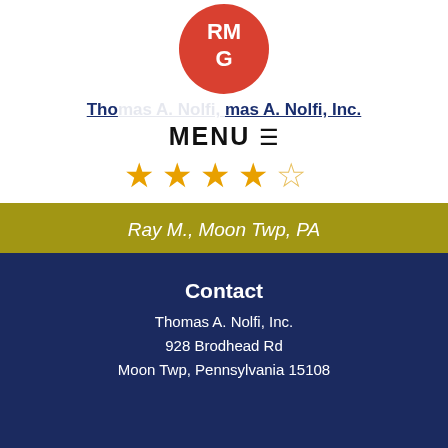[Figure (logo): RMG circular red logo with white letters RM and G]
Thomas A. Nolfi, Inc.
MENU ☰
[Figure (other): 4 filled gold stars and 1 empty star rating]
Ray M., Moon Twp, PA
See All Reviews
Contact
Thomas A. Nolfi, Inc.
928 Brodhead Rd
Moon Twp, Pennsylvania 15108